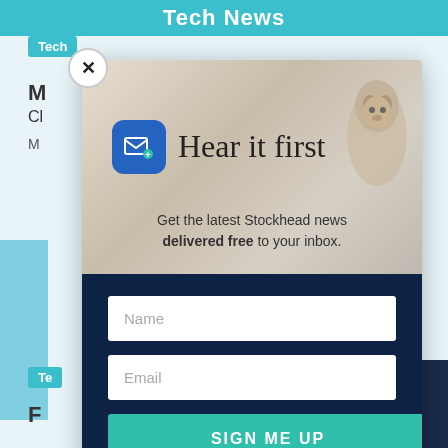Tech News
[Figure (screenshot): Newsletter signup modal popup with email icon, heading 'Hear it first', subtext about Stockhead news, and form fields for Name and Email with a Sign Me Up button]
Hear it first
Get the latest Stockhead news delivered free to your inbox.
Name
Email
SIGN ME UP